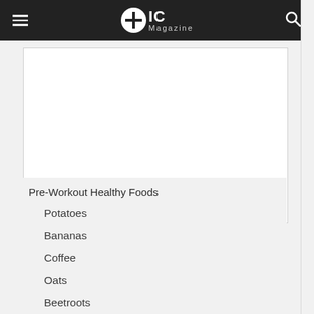+IC Magazine
[Figure (other): White blank content area placeholder]
Pre-Workout Healthy Foods
Potatoes
Bananas
Coffee
Oats
Beetroots